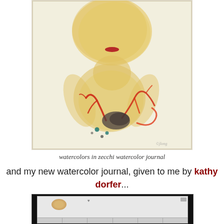[Figure (illustration): Watercolor painting of an abstract humanoid figure with yellowish body and head, small red mouth, red branch-like coral shapes, a dark fish shape, and small teal/dark dots, painted on textured watercolor paper]
watercolors in zecchi watercolor journal
and my new watercolor journal, given to me by kathy dorfer...
[Figure (photo): Photo of a watercolor journal/palette box open, showing a white page with a small yellow-orange watercolor stain and a small heart mark, and palette wells below, on a dark background]